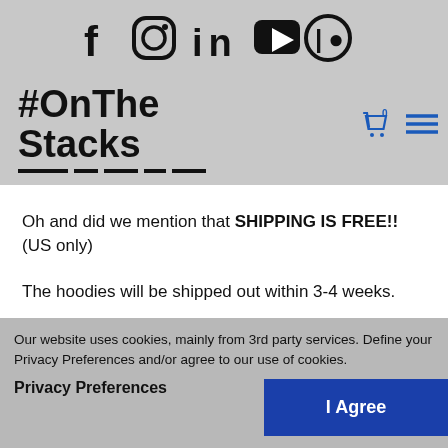[Figure (logo): Social media icons: Facebook, Instagram, LinkedIn, YouTube, Patreon]
[Figure (logo): #OnTheStacks logo with bold text and underline decorations, plus cart and hamburger menu icons]
Oh and did we mention that SHIPPING IS FREE!! (US only)
The hoodies will be shipped out within 3-4 weeks.
We'd love to see you rockin' your #OnTheStacks hoodie
Our website uses cookies, mainly from 3rd party services. Define your Privacy Preferences and/or agree to our use of cookies.
Privacy Preferences
I Agree